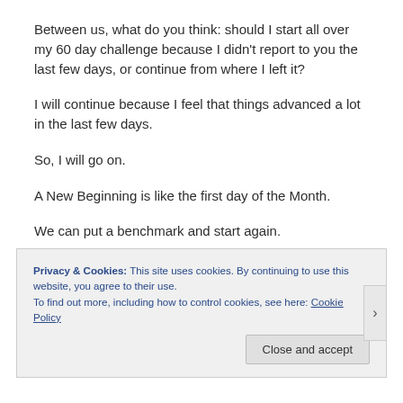Between us, what do you think: should I start all over my 60 day challenge because I didn't report to you the last few days, or continue from where I left it?
I will continue because I feel that things advanced a lot in the last few days.
So, I will go on.
A New Beginning is like the first day of the Month.
We can put a benchmark and start again.
It we are less than perfect, it is ok if we keep walking 😉
Privacy & Cookies: This site uses cookies. By continuing to use this website, you agree to their use. To find out more, including how to control cookies, see here: Cookie Policy
Close and accept